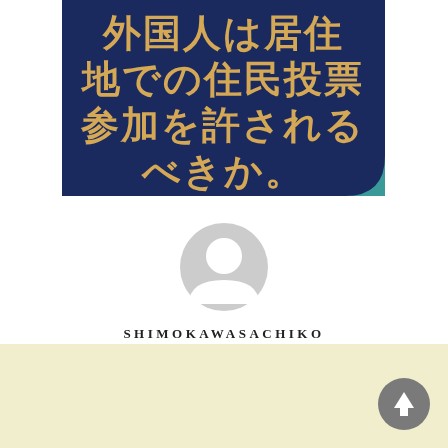[Figure (illustration): Dark navy blue banner with large golden/amber Japanese text reading '外国人は居住地での住民投票参加を許されるべきか。' (Should foreigners be allowed to participate in local referendums in their place of residence?). Teal accent in bottom-right corner.]
[Figure (illustration): Generic user avatar icon — circular grey silhouette of a person on white background.]
SHIMOKAWASACHIKO
[Figure (illustration): Pale yellow/cream colored bottom band with a grey circular scroll-to-top button with an upward arrow in the bottom-right corner.]